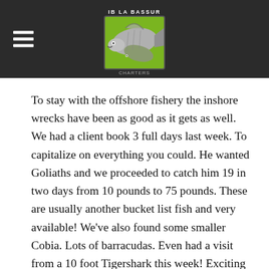IB LA BASSUR [logo]
To stay with the offshore fishery the inshore wrecks have been as good as it gets as well. We had a client book 3 full days last week. To capitalize on everything you could. He wanted Goliaths and we proceeded to catch him 19 in two days from 10 pounds to 75 pounds. These are usually another bucket list fish and very available! We've also found some smaller Cobia. Lots of barracudas. Even had a visit from a 10 foot Tigershark this week! Exciting stuff and it changes by the day!